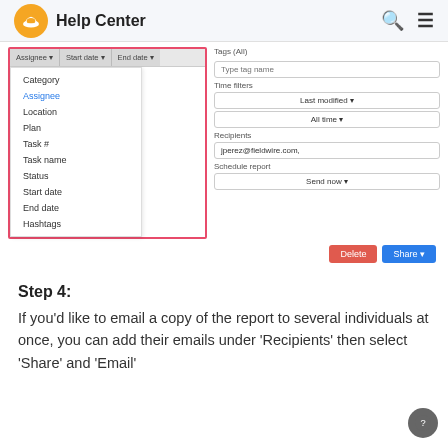Help Center
[Figure (screenshot): Screenshot of a report filtering UI showing a dropdown menu with options: Category, Assignee (highlighted in blue), Location, Plan, Task #, Task name, Status, Start date, End date, Hashtags. On the right side there are filter fields for Tags (All), Time filters (Last modified, All time), Recipients (jperez@fieldwire.com,), Schedule report (Send now). Delete and Share buttons at the bottom right.]
Step 4:
If you'd like to email a copy of the report to several individuals at once, you can add their emails under 'Recipients' then select 'Share' and 'Email'